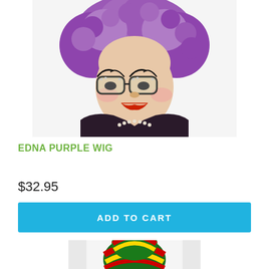[Figure (photo): Person wearing a purple curly wig and ornate cat-eye glasses with rhinestones, red lipstick, wearing a dark patterned jacket with pearl necklace — Edna Everage costume product photo]
EDNA PURPLE WIG
$32.95
ADD TO CART
[Figure (photo): Rasta-style knit hat with red, yellow, green and black stripes and dreadlocks attached]